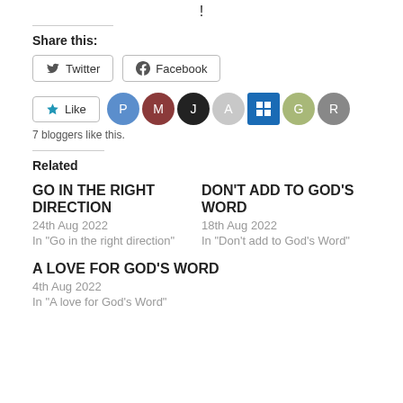!
Share this:
Twitter  Facebook
Like  7 bloggers like this.
Related
GO IN THE RIGHT DIRECTION
24th Aug 2022
In "Go in the right direction"
DON'T ADD TO GOD'S WORD
18th Aug 2022
In "Don't add to God's Word"
A LOVE FOR GOD'S WORD
4th Aug 2022
In "A love for God's Word"